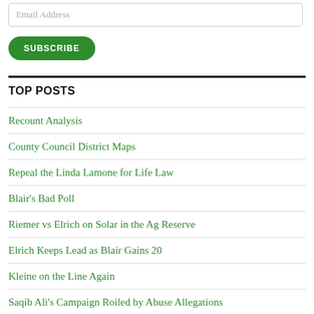Email Address
SUBSCRIBE
TOP POSTS
Recount Analysis
County Council District Maps
Repeal the Linda Lamone for Life Law
Blair's Bad Poll
Riemer vs Elrich on Solar in the Ag Reserve
Elrich Keeps Lead as Blair Gains 20
Kleine on the Line Again
Saqib Ali's Campaign Roiled by Abuse Allegations